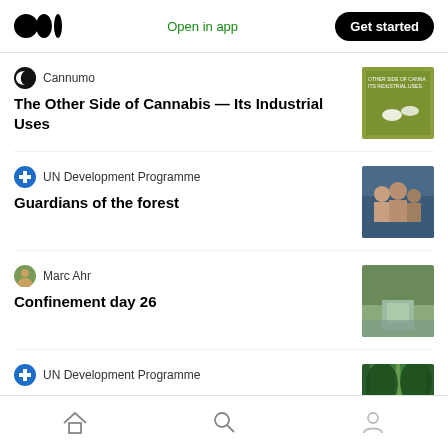Open in app  Get started
Cannumo
The Other Side of Cannabis — Its Industrial Uses
UN Development Programme
Guardians of the forest
Marc Ahr
Confinement day 26
UN Development Programme
The road less travelled — how to create a
Home  Search  Profile